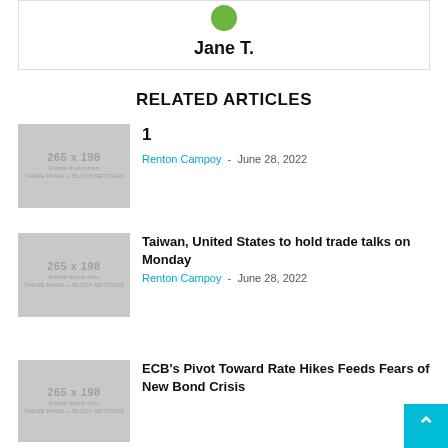Jane T.
RELATED ARTICLES
[Figure (photo): Placeholder image 265x198 - Enable thumb from THEME PANEL + BLOCK SETTINGS]
1
Renton Campoy - June 28, 2022
[Figure (photo): Placeholder image 265x198 - Enable thumb from THEME PANEL + BLOCK SETTINGS]
Taiwan, United States to hold trade talks on Monday
Renton Campoy - June 28, 2022
[Figure (photo): Placeholder image 265x198 - Enable thumb from THEME PANEL + BLOCK SETTINGS]
ECB's Pivot Toward Rate Hikes Feeds Fears of New Bond Crisis